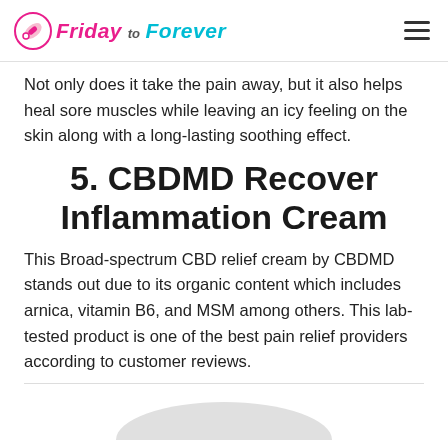Friday to Forever
Not only does it take the pain away, but it also helps heal sore muscles while leaving an icy feeling on the skin along with a long-lasting soothing effect.
5. CBDMD Recover Inflammation Cream
This Broad-spectrum CBD relief cream by CBDMD stands out due to its organic content which includes arnica, vitamin B6, and MSM among others. This lab-tested product is one of the best pain relief providers according to customer reviews.
[Figure (photo): Partial view of a cream product container at the bottom of the page]